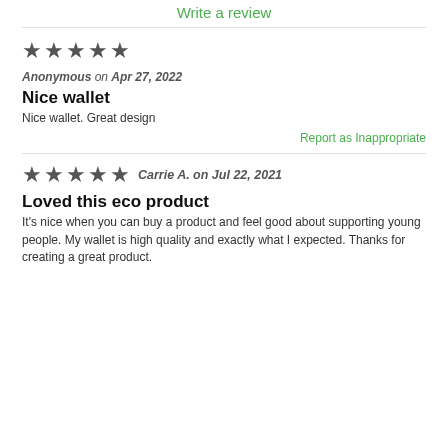Write a review
★★★★★ Anonymous on Apr 27, 2022
Nice wallet
Nice wallet. Great design
Report as Inappropriate
★★★★★ Carrie A. on Jul 22, 2021
Loved this eco product
It's nice when you can buy a product and feel good about supporting young people. My wallet is high quality and exactly what I expected. Thanks for creating a great product.